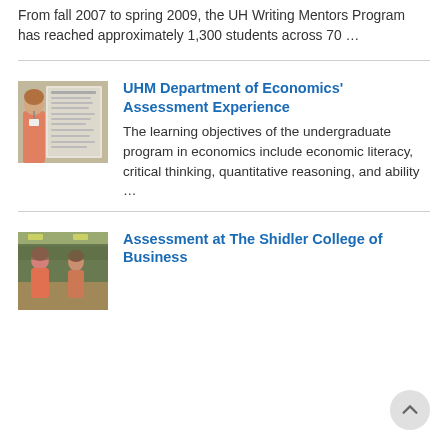From fall 2007 to spring 2009, the UH Writing Mentors Program has reached approximately 1,300 students across 70 …
[Figure (photo): Woman standing in front of a research poster display at an academic conference]
UHM Department of Economics' Assessment Experience
The learning objectives of the undergraduate program in economics include economic literacy, critical thinking, quantitative reasoning, and ability …
[Figure (photo): Two people in a cafe or library setting]
Assessment at The Shidler College of Business